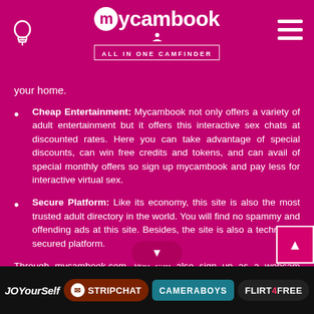mycambook – ALL IN ONE CAMFINDER
your home.
Cheap Entertainment: Mycambook not only offers a variety of adult entertainment but it offers this interactive sex chats at discounted rates. Here you can take advantage of special discounts, can win free credits and tokens, and can avail of special monthly offers so sign up mycambook and pay less for interactive virtual sex.
Secure Platform: Like its economy, this site is also the most trusted adult directory in the world. You will find no spammy and offending ads at this site. Besides, the site is also a technically secured platform.
Through mycambook.com, you can also sign up as a webcam model on varied webcamming sites and earn thousands of dollars a week. All of the requirements for becoming a model are elaborated in their terms of use policy.
Wrapping it Up
JOYourSelf  STRIPCHAT  CAMERABOYS  FLIRT4FREE